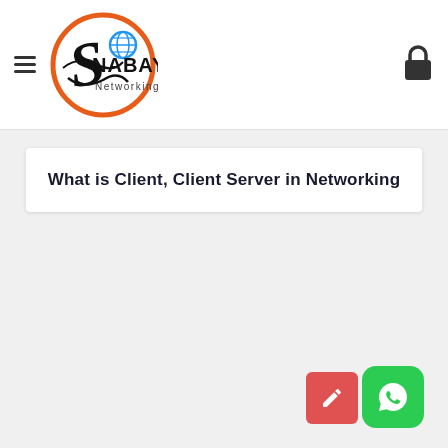Snabayo Networking — site header with logo, hamburger menu, and cart/lock icon
What is Client, Client Server in Networking